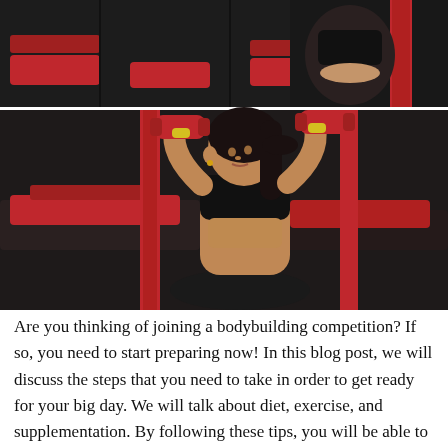[Figure (photo): Two stacked gym photos: top strip shows a person in black crop top doing exercises with red gym equipment/benches; bottom larger image shows a dark-haired woman in black sports bra lifting red dumbbells overhead while seated near red gym bench equipment, looking to the side.]
Are you thinking of joining a bodybuilding competition? If so, you need to start preparing now! In this blog post, we will discuss the steps that you need to take in order to get ready for your big day. We will talk about diet, exercise, and supplementation. By following these tips, you will be able to